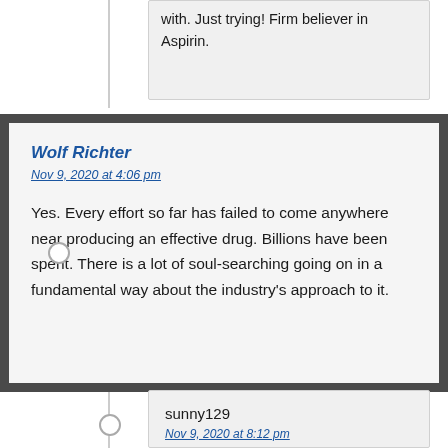with. Just trying! Firm believer in Aspirin.
Wolf Richter
Nov 9, 2020 at 4:06 pm

Yes. Every effort so far has failed to come anywhere near producing an effective drug. Billions have been spent. There is a lot of soul-searching going on in a fundamental way about the industry’s approach to it.
sunny129
Nov 9, 2020 at 8:12 pm

‘fundamental way about the industry’s